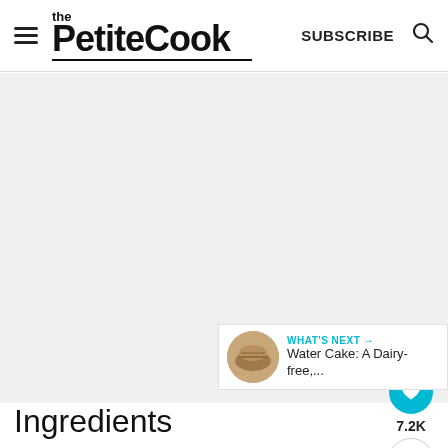the PetiteCook — SUBSCRIBE
[Figure (photo): Large food photo area (appears blank/loading) on the PetiteCook recipe page]
7.2K
WHAT'S NEXT → Water Cake: A Dairy-free,...
Ingredients